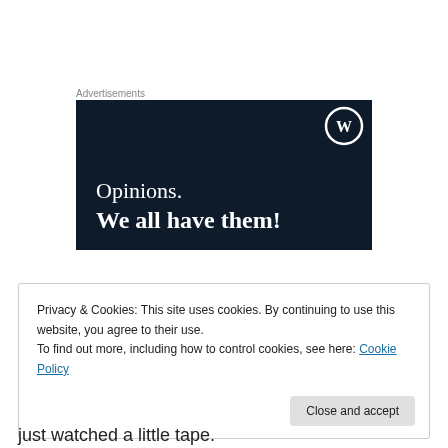Advertisements
[Figure (illustration): WordPress advertisement banner with dark navy background. WordPress logo (circle W) in top right. Text reads: 'Opinions.' on first line and 'We all have them!' in bold on second line, both in white serif font.]
Privacy & Cookies: This site uses cookies. By continuing to use this website, you agree to their use.
To find out more, including how to control cookies, see here: Cookie Policy
Close and accept
just watched a little tape.